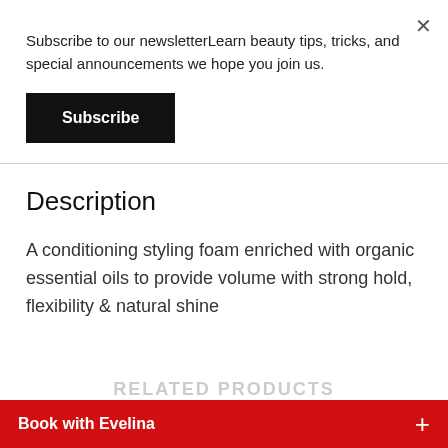Subscribe to our newsletterLearn beauty tips, tricks, and special announcements we hope you join us.
Subscribe
Description
A conditioning styling foam enriched with organic essential oils to provide volume with strong hold, flexibility & natural shine
RELATED PRODUCTS
Book with Evelina +